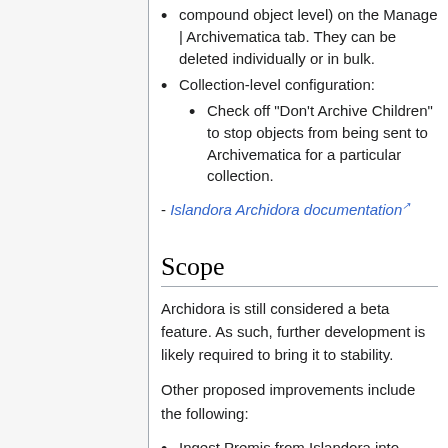compound object level) on the Manage | Archivematica tab. They can be deleted individually or in bulk.
Collection-level configuration:
Check off "Don't Archive Children" to stop objects from being sent to Archivematica for a particular collection.
- Islandora Archidora documentation
Scope
Archidora is still considered a beta feature. As such, further development is likely required to bring it to stability.
Other proposed improvements include the following:
Ingest Premis from Islandora into